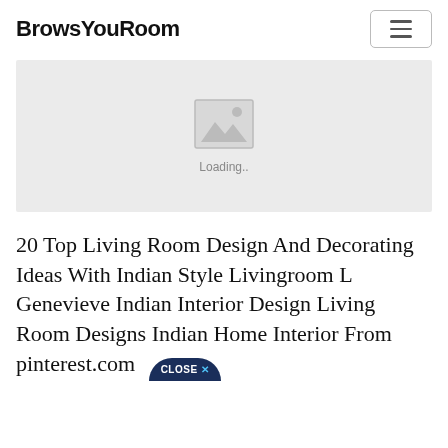BrowsYouRoom
[Figure (photo): Image placeholder with a mountain/photo icon and 'Loading..' text on a light gray background]
20 Top Living Room Design And Decorating Ideas With Indian Style Livingroom L Genevieve Indian Interior Design Living Room Designs Indian Home Interior From pinterest.com